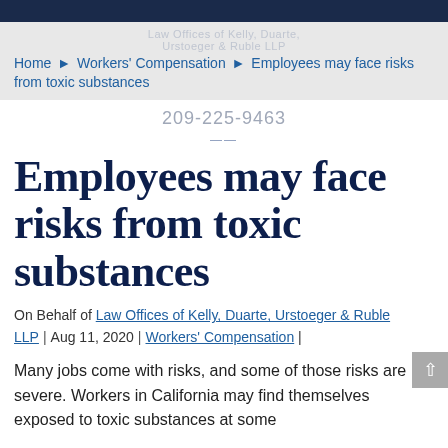Law Offices of Kelly, Duarte, Urstoeger & Ruble
Home ▶ Workers' Compensation ▶ Employees may face risks from toxic substances
209-225-9463
Employees may face risks from toxic substances
On Behalf of Law Offices of Kelly, Duarte, Urstoeger & Ruble LLP | Aug 11, 2020 | Workers' Compensation |
Many jobs come with risks, and some of those risks are severe. Workers in California may find themselves exposed to toxic substances at some...